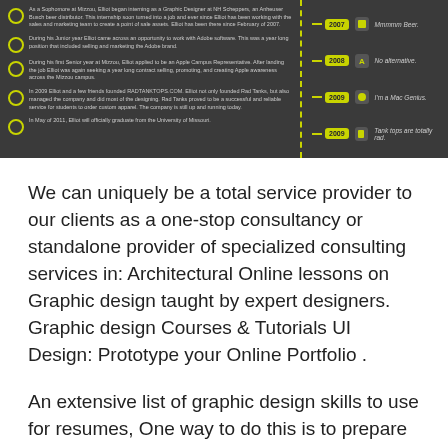[Figure (infographic): Dark-background timeline infographic showing career history entries on the left with bullet points and small text, a dashed yellow vertical divider, and year badges with icons and labels on the right (2007: Mmmmm Beer, 2008: No alternative., 2009: I'm a Mac Genius., 2009: Tank tops are totally rad.)]
We can uniquely be a total service provider to our clients as a one-stop consultancy or standalone provider of specialized consulting services in: Architectural Online lessons on Graphic design taught by expert designers. Graphic design Courses & Tutorials UI Design: Prototype your Online Portfolio .
An extensive list of graphic design skills to use for resumes, One way to do this is to prepare an